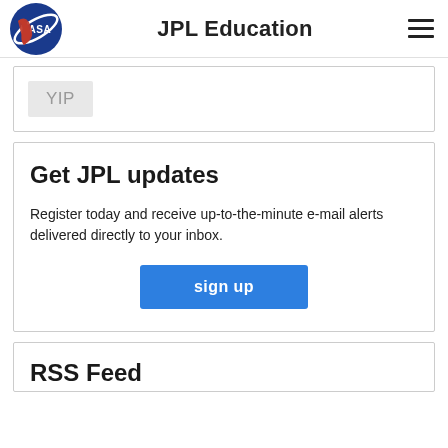JPL Education
[Figure (logo): NASA meatball logo — blue circle with red chevron and white NASA text]
YIP
Get JPL updates
Register today and receive up-to-the-minute e-mail alerts delivered directly to your inbox.
sign up
RSS Feed